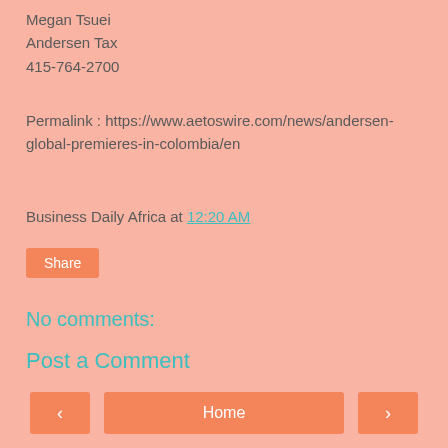Megan Tsuei
Andersen Tax
415-764-2700
Permalink : https://www.aetoswire.com/news/andersen-global-premieres-in-colombia/en
Business Daily Africa at 12:20 AM
[Figure (other): Share button - orange rounded rectangle with white text]
No comments:
Post a Comment
[Figure (other): Navigation bar with left arrow button, Home center button, right arrow button]
View web version
Powered by Blogger.